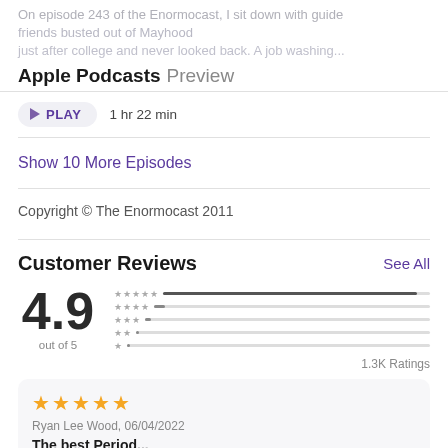On episode 243 of the Enormocast, I sit down with guide ... busted out of Mayhood just after college and never looked back. A job washing...
Apple Podcasts Preview
PLAY  1 hr 22 min
Show 10 More Episodes
Copyright © The Enormocast 2011
Customer Reviews
See All
4.9 out of 5  1.3K Ratings
Ryan Lee Wood, 06/04/2022
The best Period...